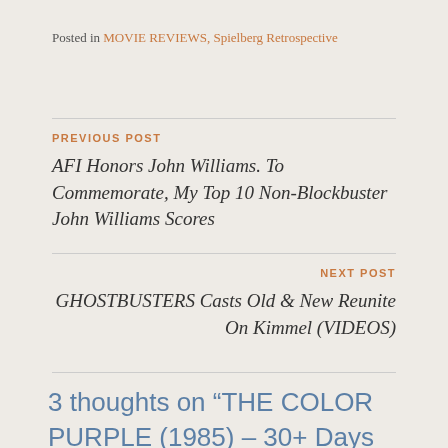Posted in MOVIE REVIEWS, Spielberg Retrospective
PREVIOUS POST
AFI Honors John Williams. To Commemorate, My Top 10 Non-Blockbuster John Williams Scores
NEXT POST
GHOSTBUSTERS Casts Old & New Reunite On Kimmel (VIDEOS)
3 thoughts on “THE COLOR PURPLE (1985) – 30+ Days Of Spielberg”